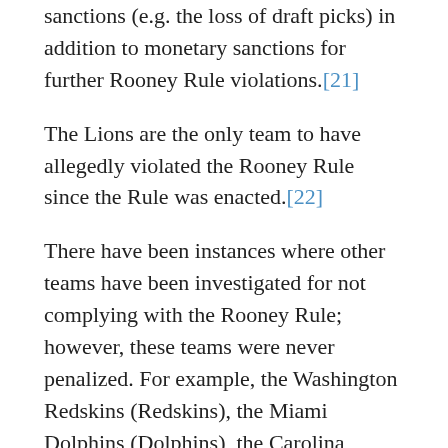sanctions (e.g. the loss of draft picks) in addition to monetary sanctions for further Rooney Rule violations.[21]
The Lions are the only team to have allegedly violated the Rooney Rule since the Rule was enacted.[22]
There have been instances where other teams have been investigated for not complying with the Rooney Rule; however, these teams were never penalized. For example, the Washington Redskins (Redskins), the Miami Dolphins (Dolphins), the Carolina Panthers (Panthers), the Seattle Seahawks (Seahawks), and the Eagles are just a few of the teams that have been investigated for potential violations of the Rooney Rule. The Panthers almost got sanctioned for violating the Rooney Rule for hiring Marty Hurney as the general manager; however, the Panthers did not